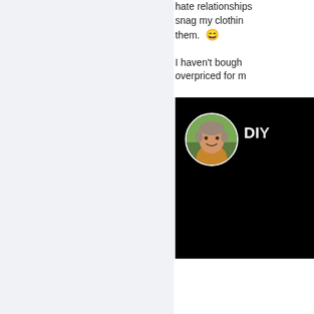hate relationships snag my clothing them. 😄
I haven't bough overpriced for m
[Figure (screenshot): Video thumbnail with circular avatar of a man in a yellow/orange shirt on a black background, with text 'DIY' partially visible in white]